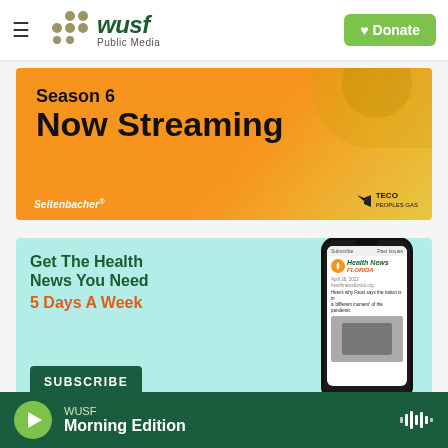WUSF Public Media — Donate
[Figure (screenshot): Orange and yellow gradient advertisement banner reading 'Season 6 Now Streaming' with Seitenbacher and TECO Peoples Gas logos]
[Figure (screenshot): Light teal advertisement for Health News Florida newsletter reading 'Get The Health News You Need 5 Days A Week' with SUBSCRIBE button and phone mockup showing Health News Florida newsletter]
WUSF Morning Edition — audio player bar with play button